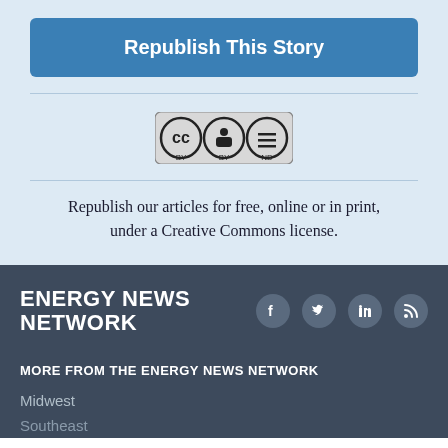Republish This Story
[Figure (logo): Creative Commons CC BY-ND license badge]
Republish our articles for free, online or in print, under a Creative Commons license.
ENERGY NEWS NETWORK
MORE FROM THE ENERGY NEWS NETWORK
Midwest